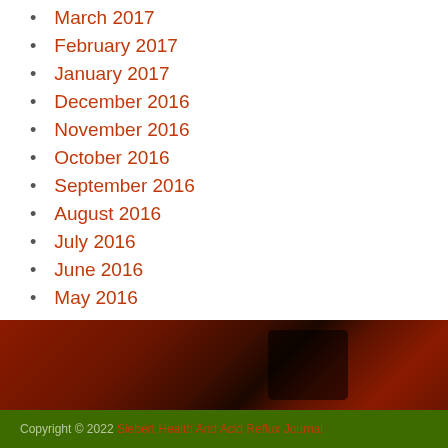March 2017
February 2017
January 2017
December 2016
November 2016
October 2016
September 2016
August 2016
July 2016
June 2016
May 2016
Copyright © 2022 Siebert Health And Acid Reflux Journal